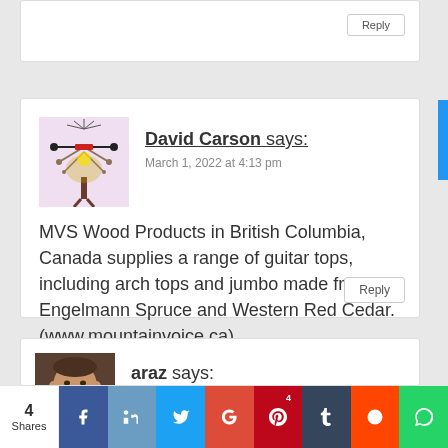Reply
David Carson says:
March 1, 2022 at 4:13 pm
MVS Wood Products in British Columbia, Canada supplies a range of guitar tops, including arch tops and jumbo made from Engelmann Spruce and Western Red Cedar. (www.mountainvoice.ca)
Reply
araz says:
March 5, 2022 at 8:49 am
4 Shares